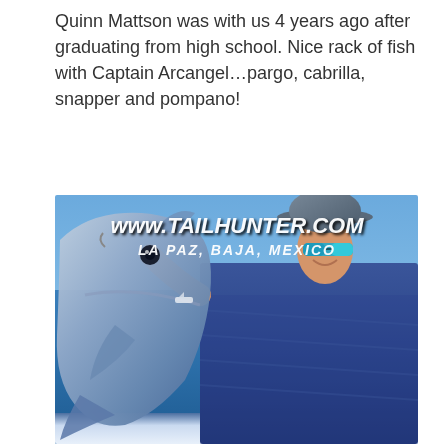Quinn Mattson was with us 4 years ago after graduating from high school. Nice rack of fish with Captain Arcangel…pargo, cabrilla, snapper and pompano!
[Figure (photo): A man wearing a blue fish-print shirt and a wide-brim hat with green mirror sunglasses holds up a large silver fish (pompano/pargo type) on a boat in the Sea of Cortez near La Paz, Baja, Mexico. The image has a watermark reading 'www.TAILHUNTER.COM / LA PAZ, BAJA, MEXICO'.]